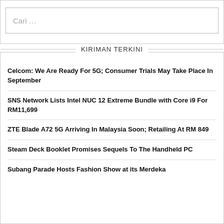[Figure (screenshot): Search input box with placeholder text 'Cari ...']
KIRIMAN TERKINI
Celcom: We Are Ready For 5G; Consumer Trials May Take Place In September
SNS Network Lists Intel NUC 12 Extreme Bundle with Core i9 For RM11,699
ZTE Blade A72 5G Arriving In Malaysia Soon; Retailing At RM 849
Steam Deck Booklet Promises Sequels To The Handheld PC
Subang Parade Hosts Fashion Show at its Merdeka